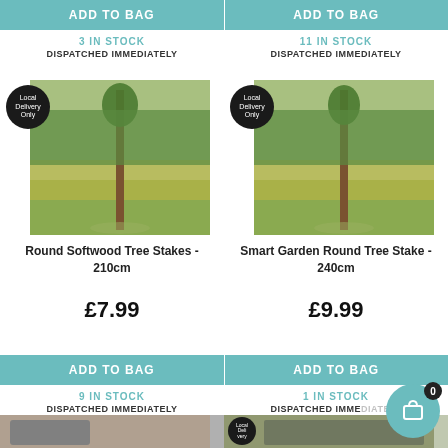ADD TO BAG (left top)
ADD TO BAG (right top)
3 IN STOCK
DISPATCHED IMMEDIATELY
11 IN STOCK
DISPATCHED IMMEDIATELY
[Figure (photo): Round Softwood Tree Stakes 210cm product photo showing a young tree with a wooden stake in a garden meadow]
[Figure (photo): Smart Garden Round Tree Stake 240cm product photo showing a young tree with a wooden stake in a garden meadow]
Round Softwood Tree Stakes - 210cm
Smart Garden Round Tree Stake - 240cm
£7.99
£9.99
ADD TO BAG
ADD TO BAG
9 IN STOCK
DISPATCHED IMMEDIATELY
1 IN STOCK
DISPATCHED IMME...
[Figure (photo): Partially visible product photo at bottom left]
[Figure (photo): Partially visible product photo at bottom right with Local Delivery badge]